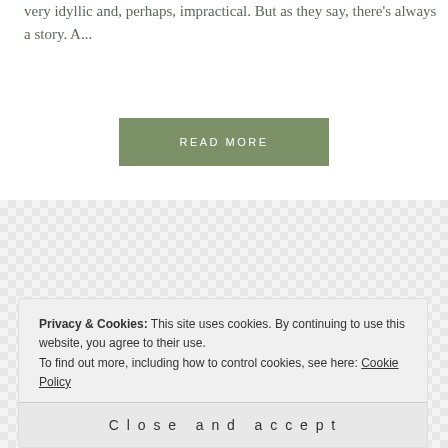very idyllic and, perhaps, impractical. But as they say, there's always a story. A...
READ MORE
[Figure (illustration): Colorful flat illustration of world landmarks including Statue of Liberty, Big Ben, Kremlin, Leaning Tower of Pisa, and an Asian pagoda, with mountains, clouds, and a sun on a checkered background.]
Privacy & Cookies: This site uses cookies. By continuing to use this website, you agree to their use.
To find out more, including how to control cookies, see here: Cookie Policy
Close and accept